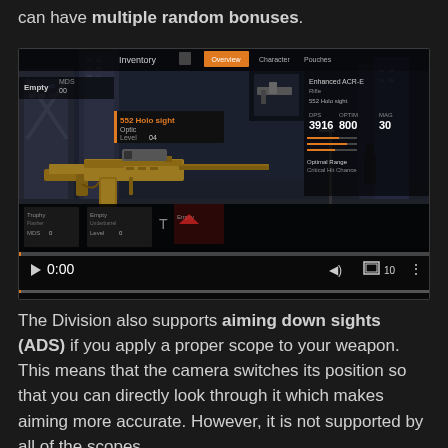can have multiple random bonuses.
[Figure (screenshot): Video screenshot from The Division game showing inventory screen with weapon (552 Holo sight, Optic, Level 04), game UI panels including Inventory, Overview, Character, Pouches tabs, stats showing DPS 3916, OPTIM 800, MAG 30, and video player controls at 0:00]
The Division also supports aiming down sights (ADS) if you apply a proper scope to your weapon. This means that the camera switches its position so that you can directly look through it which makes aiming more accurate. However, it is not supported by all of the scopes.